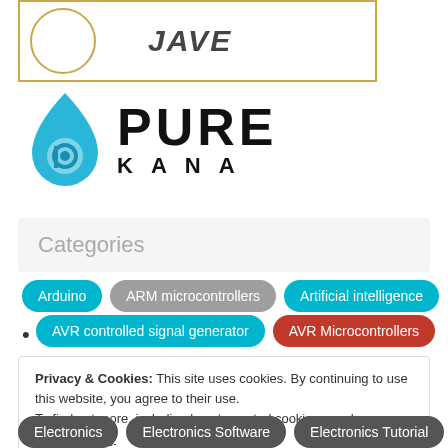[Figure (logo): Top box with circular logo outline and 'JAVE' text]
[Figure (logo): PureKana logo with blue water drop icon and PURE KANA text]
Categories
Arduino
ARM microcontrollers
Artificial intelligence
AVR controlled signal generator
AVR Microcontrollers
Privacy & Cookies: This site uses cookies. By continuing to use this website, you agree to their use.
To find out more, including how to control cookies, see here: Privacy Policy
Electronics
Electronics Software
Electronics Tutorial